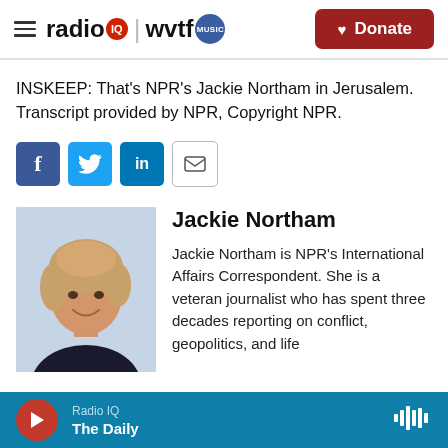radio IQ | wvtf MUSIC   Donate
INSKEEP: That's NPR's Jackie Northam in Jerusalem. Transcript provided by NPR, Copyright NPR.
[Figure (infographic): Social share buttons: Facebook, Twitter, LinkedIn, Email]
[Figure (photo): Headshot photo of Jackie Northam, a woman with short blonde hair, smiling, wearing a dark top]
Jackie Northam
Jackie Northham is NPR's International Affairs Correspondent. She is a veteran journalist who has spent three decades reporting on conflict, geopolitics, and life
Radio IQ  The Daily